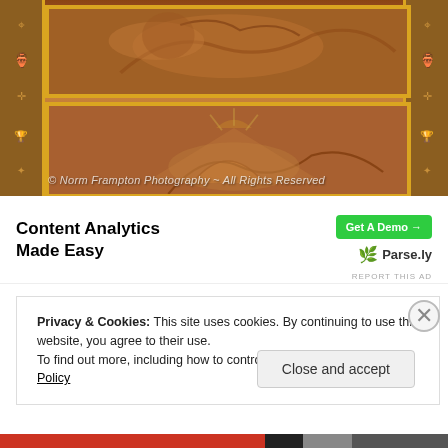[Figure (photo): Copper relief panel artwork showing two framed bas-relief scenes with decorative motifs including a lion/beast figure (upper panel) and a sunrise/cloud scene (lower panel), framed in brass with decorative side pilasters featuring chalice and cross motifs. Watermark reads: © Norm Frampton Photography ~ All Rights Reserved]
Content Analytics Made Easy  Get A Demo →  🌿 Parse.ly
REPORT THIS AD
Privacy & Cookies: This site uses cookies. By continuing to use this website, you agree to their use.
To find out more, including how to control cookies, see here: Cookie Policy
Close and accept